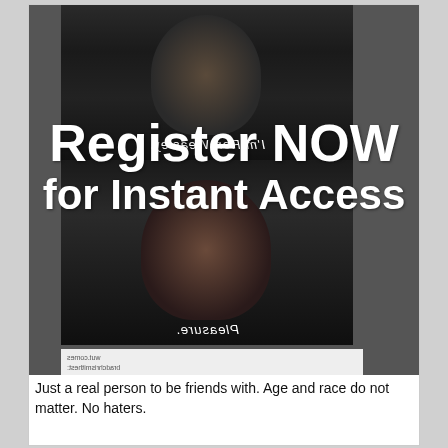[Figure (screenshot): Screenshot of a social media post showing two stacked screenshots from Harry Potter films. The top image shows Ron Weasley with mirrored caption "I'm Ron Weasley." The bottom image shows Hermione with mirrored caption "Pleasure." Below the images are mirrored Tumblr usernames and a quote. Overlaid across both images in large white bold text: "Register NOW for Instant Access"]
Just a real person to be friends with. Age and race do not matter. No haters.